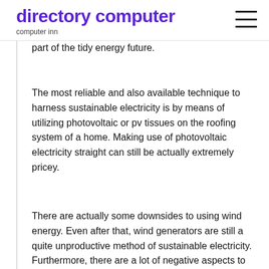directory computer
computer inn
part of the tidy energy future.
The most reliable and also available technique to harness sustainable electricity is by means of utilizing photovoltaic or pv tissues on the roofing system of a home. Making use of photovoltaic electricity straight can still be actually extremely pricey.
There are actually some downsides to using wind energy. Even after that, wind generators are still a quite unproductive method of sustainable electricity. Furthermore, there are a lot of negative aspects to using wind electrical